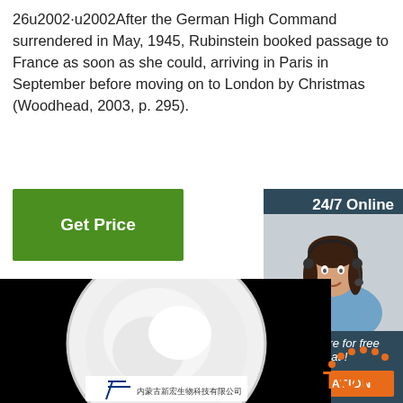26u2002·u2002After the German High Command surrendered in May, 1945, Rubinstein booked passage to France as soon as she could, arriving in Paris in September before moving on to London by Christmas (Woodhead, 2003, p. 295).
[Figure (other): Green 'Get Price' button]
[Figure (other): Sidebar with '24/7 Online' banner, customer service representative photo, 'Click here for free chat!' text, and orange QUOTATION button on dark blue background]
[Figure (photo): Product photo: white powder in a petri dish on black background, with company label at bottom showing a logo and Chinese text]
[Figure (logo): Orange 'TOP' logo with arc of dots above the text]